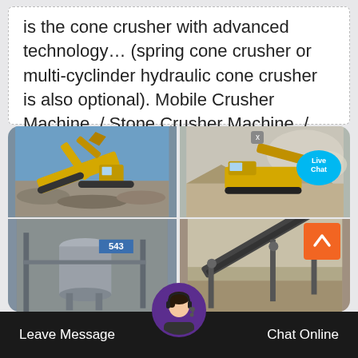is the cone crusher with advanced technology… (spring cone crusher or multi-cyclinder hydraulic cone crusher is also optional). Mobile Crusher Machine. / Stone Crusher Machine. / Sand Making
[Figure (photo): Four-panel photo grid showing industrial stone crusher and mining equipment: top-left shows yellow excavator/jaw crusher on gravel pile; top-right shows yellow mobile crusher machine in quarry with dust; bottom-left shows industrial silo/tank machinery; bottom-right shows conveyor belt structure. A 'Live Chat' bubble overlay appears top-right.]
Leave Message
Chat Online